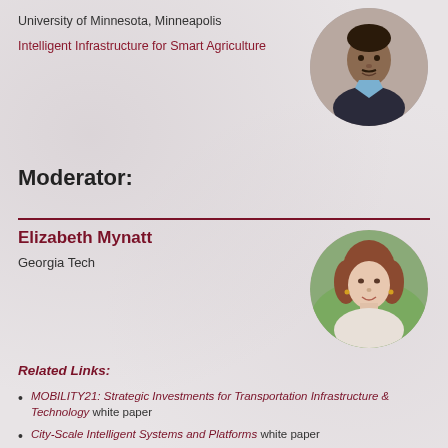University of Minnesota, Minneapolis
Intelligent Infrastructure for Smart Agriculture
[Figure (photo): Headshot of a man in a suit with a light blue collared shirt, dark complexion, circular crop]
Moderator:
Elizabeth Mynatt
Georgia Tech
[Figure (photo): Headshot of a woman with short brown hair, circular crop, outdoor background]
Related Links:
MOBILITY21: Strategic Investments for Transportation Infrastructure & Technology white paper
City-Scale Intelligent Systems and Platforms white paper
Intelligent Infrastructure for Smart Agriculture: An Integrated Food, Energy and Water System white paper